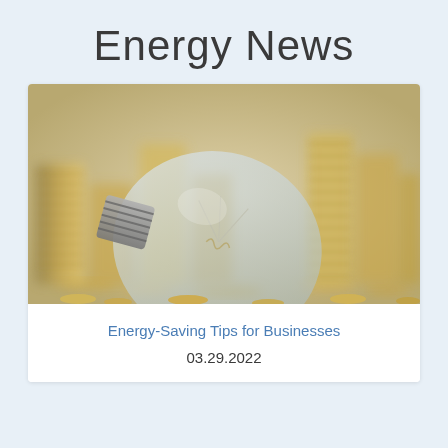Energy News
[Figure (photo): A glass incandescent light bulb lying on its side on a pile of gold coins, with stacked columns of gold coins in the background, suggesting the cost of energy.]
Energy-Saving Tips for Businesses
03.29.2022